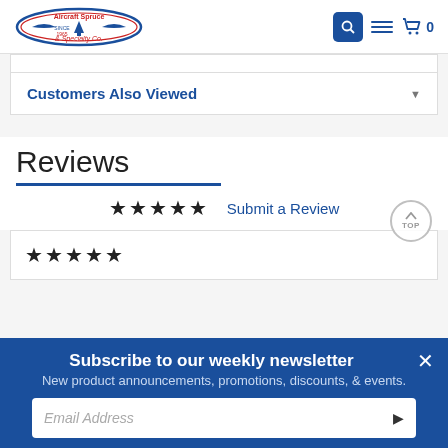[Figure (logo): Aircraft Spruce & Specialty Co. logo with pine tree and banner, in red and blue]
[Figure (screenshot): Navigation icons: blue search button, hamburger menu, cart with 0 count]
Customers Also Viewed
Reviews
★★★★★  Submit a Review
★★★★★
Subscribe to our weekly newsletter
New product announcements, promotions, discounts, & events.
Email Address